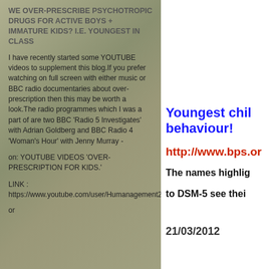WE OVER-PRESCRIBE PSYCHOTROPIC DRUGS FOR ACTIVE BOYS + IMMATURE KIDS? I.E. YOUNGEST IN CLASS
I have recently started some YOUTUBE videos to supplement this blog.If you prefer watching on full screen with either music or BBC radio documentaries about over-prescription then this may be worth a look.The radio programmes which I was a part of are two BBC 'Radio 5 Investigates' with Adrian Goldberg and BBC Radio 4 'Woman's Hour' with Jenny Murray -
on: YOUTUBE VIDEOS 'OVER-PRESCRIPTION FOR KIDS.'
LINK : https://www.youtube.com/user/Humanagement2011
Youngest chil
behaviour!
http://www.bps.or
The names highlig
to DSM-5 see thei
21/03/2012